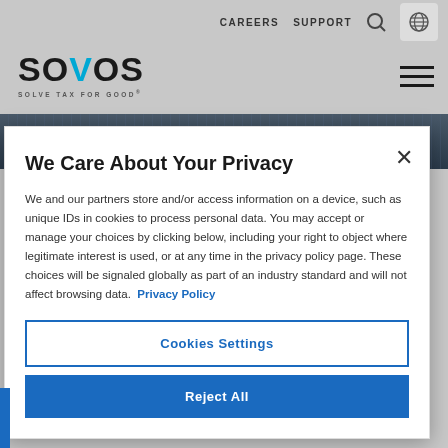CAREERS   SUPPORT
[Figure (logo): Sovos logo with text SOLVE TAX FOR GOOD]
[Figure (photo): Dark blue building/city background strip]
We Care About Your Privacy
We and our partners store and/or access information on a device, such as unique IDs in cookies to process personal data. You may accept or manage your choices by clicking below, including your right to object where legitimate interest is used, or at any time in the privacy policy page. These choices will be signaled globally as part of an industry standard and will not affect browsing data. Privacy Policy
Cookies Settings
Reject All